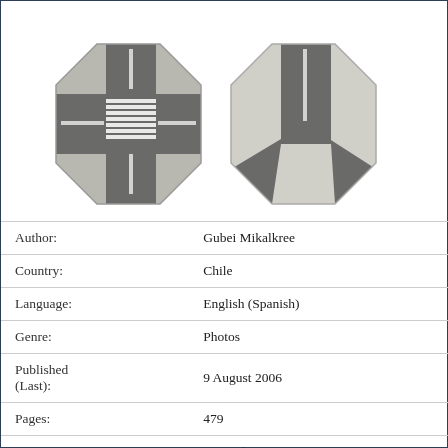[Figure (illustration): Two octagonal road tile illustrations showing intersections — one with a crosswalk/4-way intersection, one with a Y/3-way intersection]
| Author: | Gubei Mikalkree |
| Country: | Chile |
| Language: | English (Spanish) |
| Genre: | Photos |
| Published (Last): | 9 August 2006 |
| Pages: | 479 |
| PDF File Size: | 4.86 Mb |
| ePub File Size: | 3.70 Mb |